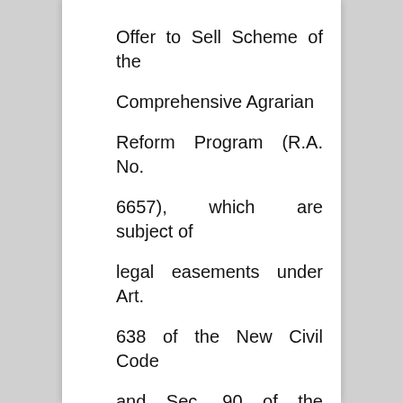Offer to Sell Scheme of the Comprehensive Agrarian Reform Program (R.A. No. 6657), which are subject of legal easements under Art. 638 of the New Civil Code and Sec. 90 of the Public